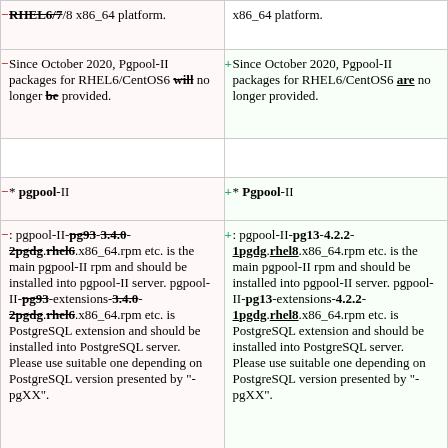| Removed/Old | Added/New |
| --- | --- |
| RHEL6/7/8 x86_64 platform. | x86_64 platform. |
| Since October 2020, Pgpool-II packages for RHEL6/CentOS6 will no longer be provided. | Since October 2020, Pgpool-II packages for RHEL6/CentOS6 are no longer provided. |
|  |  |
| * pgpool-II | + * Pgpool-II |
| : pgpool-II-pg93-3.4.0-2pgdg.rhel6.x86_64.rpm etc. is the main pgpool-II rpm and should be installed into pgpool-II server. pgpool-II-pg93-extensions-3.4.0-2pgdg.rhel6.x86_64.rpm etc. is PostgreSQL extension and should be installed into PostgreSQL server. Please use suitable one depending on PostgreSQL version presented by "-pgXX". | : pgpool-II-pg13-4.2.2-1pgdg.rhel8.x86_64.rpm etc. is the main pgpool-II rpm and should be installed into pgpool-II server. pgpool-II-pg13-extensions-4.2.2-1pgdg.rhel8.x86_64.rpm etc. is PostgreSQL extension and should be installed into PostgreSQL server. Please use suitable one depending on PostgreSQL version presented by "-pgXX". |